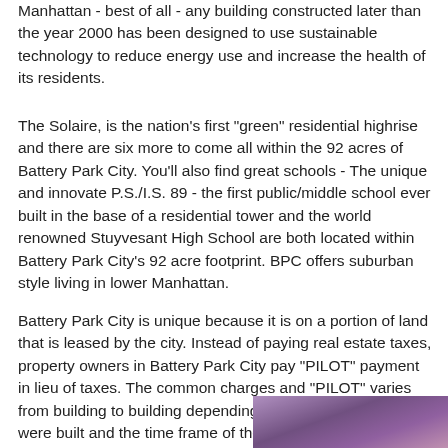Manhattan - best of all - any building constructed later than the year 2000 has been designed to use sustainable technology to reduce energy use and increase the health of its residents.
The Solaire, is the nation's first "green" residential highrise and there are six more to come all within the 92 acres of Battery Park City. You'll also find great schools - The unique and innovate P.S./I.S. 89 - the first public/middle school ever built in the base of a residential tower and the world renowned Stuyvesant High School are both located within Battery Park City's 92 acre footprint. BPC offers suburban style living in lower Manhattan.
Battery Park City is unique because it is on a portion of land that is leased by the city. Instead of paying real estate taxes, property owners in Battery Park City pay "PILOT" payment in lieu of taxes. The common charges and "PILOT" varies from building to building depending on when the buildings were built and the time frame of the land leases.
[Figure (photo): Partial photo visible at bottom-right corner of page, appearing to show a building or urban scene with purple/pink tones.]